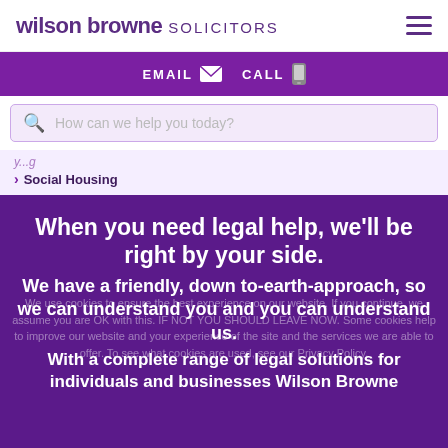wilson browne SOLICITORS
EMAIL   CALL
How can we help you today?
Social Housing
When you need legal help, we'll be right by your side.
We use cookies to ensure the best experience on our website. If you continue, we assume you are OK with this. IF NOT YOU SHOULD LEAVE NOW. Some cookies help to improve our website and your experience of the site and the services we are able to offer. To see what cookies are used, see our Privacy Policy.
We have a friendly, down to-earth-approach, so we can understand you and you can understand us.
With a complete range of legal solutions for individuals and businesses Wilson Browne really are all the help you need.